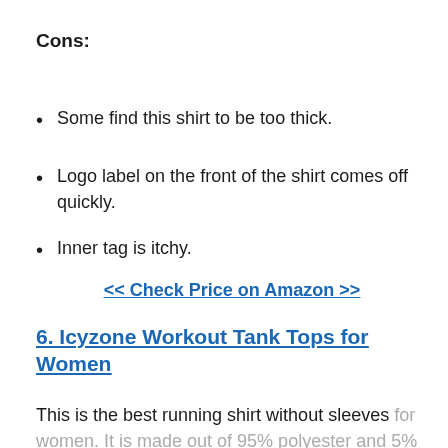Cons:
Some find this shirt to be too thick.
Logo label on the front of the shirt comes off quickly.
Inner tag is itchy.
<< Check Price on Amazon >>
6. Icyzone Workout Tank Tops for Women
This is the best running shirt without sleeves for women. It is made out of 95% polyester and 5% spandex. It is lightweight, stretchy